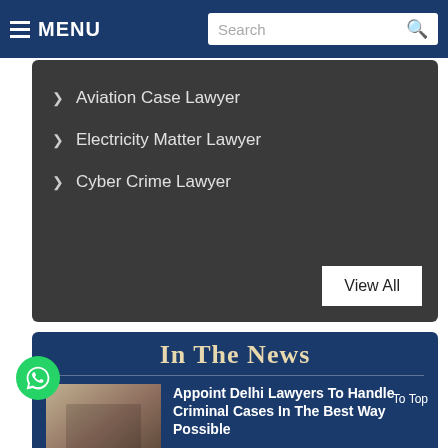MENU | Search
Aviation Case Lawyer
Electricity Matter Lawyer
Cyber Crime Lawyer
View All
In The News
Appoint Delhi Lawyers To Handle Criminal Cases In The Best Way Possible
Are you looking for the Best Corporate Lawyers in Delhi NCR? Here they are, the leading law firm dealing with cases from
Read More...